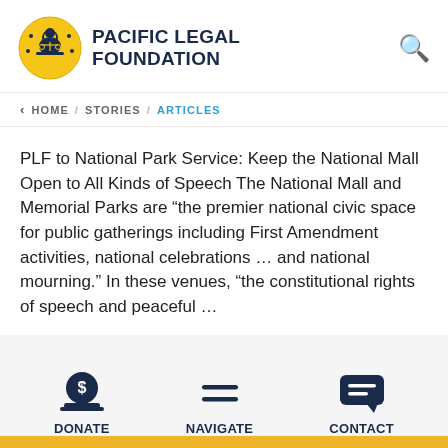[Figure (logo): Pacific Legal Foundation logo: circular yellow/gold badge with a figure at a desk, scales of justice]
PACIFIC LEGAL FOUNDATION
< HOME / STORIES / ARTICLES
PLF to National Park Service: Keep the National Mall Open to All Kinds of Speech The National Mall and Memorial Parks are “the premier national civic space for public gatherings including First Amendment activities, national celebrations … and national mourning.” In these venues, “the constitutional rights of speech and peaceful …
DONATE   NAVIGATE   CONTACT